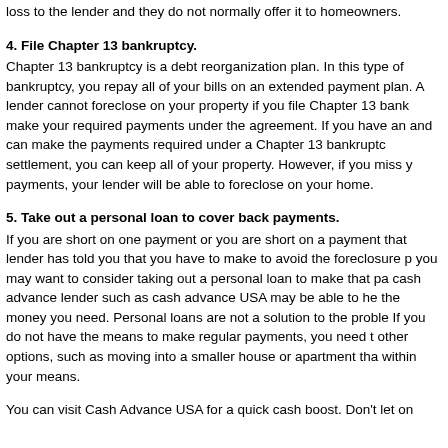loss to the lender and they do not normally offer it to homeowners.
4. File Chapter 13 bankruptcy.
Chapter 13 bankruptcy is a debt reorganization plan. In this type of bankruptcy, you repay all of your bills on an extended payment plan. A lender cannot foreclose on your property if you file Chapter 13 bankruptcy and make your required payments under the agreement. If you have an and can make the payments required under a Chapter 13 bankruptcy settlement, you can keep all of your property. However, if you miss your payments, your lender will be able to foreclose on your home.
5. Take out a personal loan to cover back payments.
If you are short on one payment or you are short on a payment that your lender has told you that you have to make to avoid the foreclosure process, you may want to consider taking out a personal loan to make that payment. A cash advance lender such as cash advance USA may be able to help you get the money you need. Personal loans are not a solution to the problem though. If you do not have the means to make regular payments, you need to look at other options, such as moving into a smaller house or apartment that is within your means.
You can visit Cash Advance USA for a quick cash boost. Don't let on